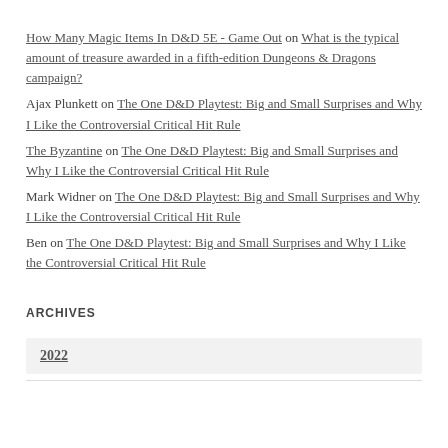How Many Magic Items In D&D 5E - Game Out on What is the typical amount of treasure awarded in a fifth-edition Dungeons & Dragons campaign?
Ajax Plunkett on The One D&D Playtest: Big and Small Surprises and Why I Like the Controversial Critical Hit Rule
The Byzantine on The One D&D Playtest: Big and Small Surprises and Why I Like the Controversial Critical Hit Rule
Mark Widner on The One D&D Playtest: Big and Small Surprises and Why I Like the Controversial Critical Hit Rule
Ben on The One D&D Playtest: Big and Small Surprises and Why I Like the Controversial Critical Hit Rule
ARCHIVES
2022